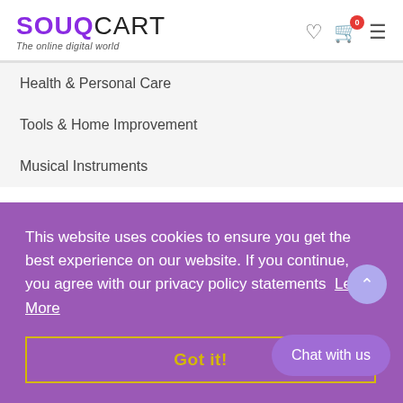[Figure (logo): SouqCart logo with text 'The online digital world']
Health & Personal Care
Tools & Home Improvement
Musical Instruments
This website uses cookies to ensure you get the best experience on our website. If you continue, you agree with our privacy policy statements  Learn More
Got it!
Chat with us